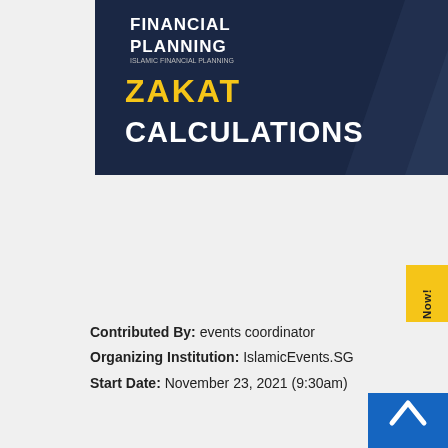[Figure (illustration): Event banner for Financial Planning / Zakat Calculations webinar, dark navy background with diagonal geometric shapes, text 'FINANCIAL PLANNING', 'ZAKAT' in yellow, 'CALCULATIONS' in white, two male speakers on the right side]
Contributed By: events coordinator
Organizing Institution: IslamicEvents.SG
Start Date: November 23, 2021 (9:30am)